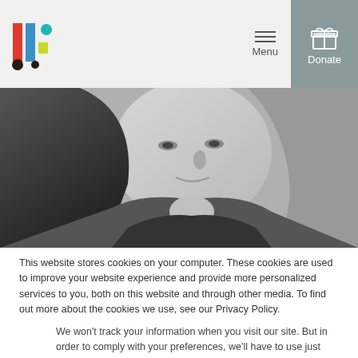Menu | Donate
[Figure (photo): Black and white close-up photo of a woman with long dark hair, wearing a dark sleeveless top, cropped at the shoulders]
This website stores cookies on your computer. These cookies are used to improve your website experience and provide more personalized services to you, both on this website and through other media. To find out more about the cookies we use, see our Privacy Policy.
We won't track your information when you visit our site. But in order to comply with your preferences, we'll have to use just one tiny cookie so that you're not asked to make this choice again.
Accept | Decline